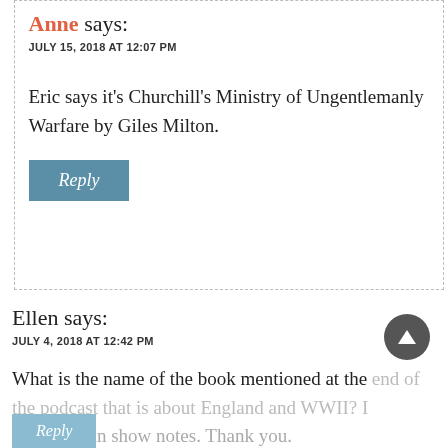Anne says:
JULY 15, 2018 AT 12:07 PM
Eric says it’s Churchill’s Ministry of Ungentlemanly Warfare by Giles Milton.
Reply
Ellen says:
JULY 4, 2018 AT 12:42 PM
What is the name of the book mentioned at the end of the podcast that is about England and WWII? I not find it in show notes. Thank you.
Reply